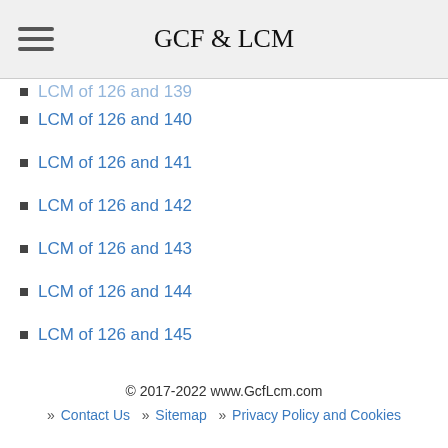GCF & LCM
LCM of 126 and 140
LCM of 126 and 141
LCM of 126 and 142
LCM of 126 and 143
LCM of 126 and 144
LCM of 126 and 145
LCM of 126 and 146
© 2017-2022 www.GcfLcm.com  » Contact Us  » Sitemap  » Privacy Policy and Cookies